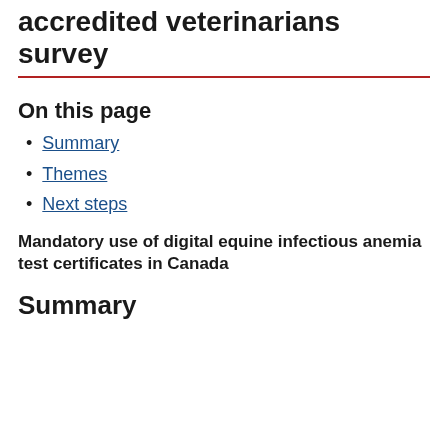accredited veterinarians survey
On this page
Summary
Themes
Next steps
Mandatory use of digital equine infectious anemia test certificates in Canada
Summary